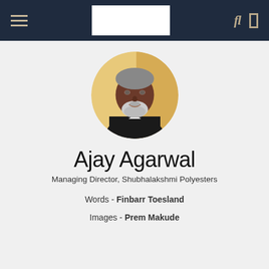Navigation bar with hamburger menu, logo, and icons
[Figure (photo): Circular profile photo of Ajay Agarwal, a man with grey beard wearing a dark suit, against a golden decorative background]
Ajay Agarwal
Managing Director, Shubhalakshmi Polyesters
Words - Finbarr Toesland
Images - Prem Makude